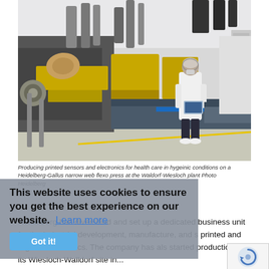[Figure (photo): A worker in white protective lab coat, hairnet, and gloves operating a Heidelberg-Gallus narrow web flexo press in a clean, bright industrial facility. Large printing machinery with yellow and grey components lines the production floor.]
Producing printed sensors and electronics for health care in hygeinic conditions on a Heidelberg-Gallus narrow web flexo press at the Waldorf-Wiesloch plant Photo Heidelberg
This website uses cookies to ensure you get the best experience on our website. Learn more
Heidelberg has diversified and set up a dedicated business unit for the industrial development, manufacture, and s printed and organic electronics. The company has als started production at its Wiesloch-Walldorf site in...